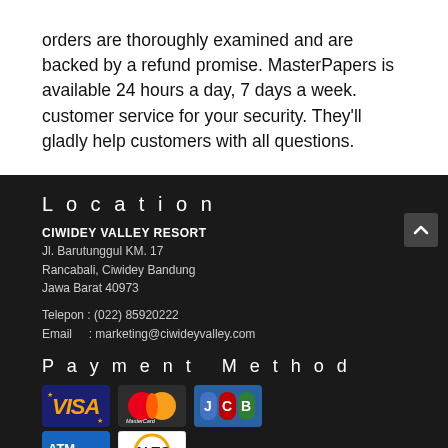orders are thoroughly examined and are backed by a refund promise. MasterPapers is available 24 hours a day, 7 days a week. customer service for your security. They'll gladly help customers with all questions.
Location
CIWIDEY VALLEY RESORT
Jl. Barutunggul KM. 17
Rancabali, Ciwidey Bandung
Jawa Barat 40973
Telepon : (022) 85920222
Email     : marketing@ciwideyvalley.com
Payment Method
[Figure (logo): Payment method logos: VISA, MasterCard, JCB, ATM Bersama, ALTO]